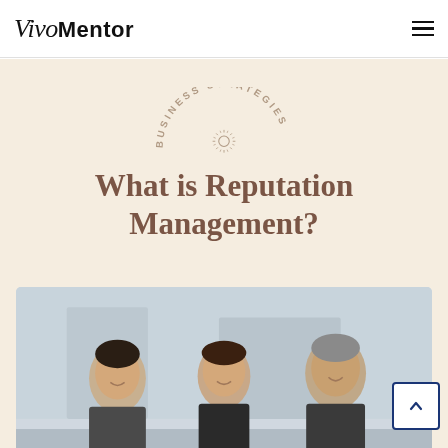VivoMentor
[Figure (infographic): Business Strategies badge with arched text 'BUSINESS STRATEGIES' and sun/starburst icon, over a cream background. Large serif heading 'What is Reputation Management?' in brown. Below: photo of three smiling professionals outdoors.]
What is Reputation Management?